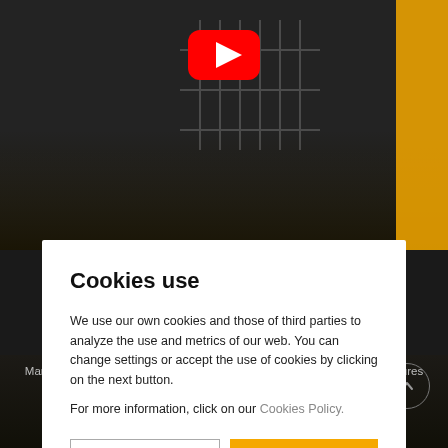[Figure (screenshot): Dark background webpage with YouTube play button icon visible at the top, and industrial/manufacturing imagery in the lower portion]
Cookies use
We use our own cookies and those of third parties to analyze the use and metrics of our web. You can change settings or accept the use of cookies by clicking on the next button.
For more information, click on our Cookies Policy.
Manufactured in a fully automated production and verification line that ensures the highest level of performance guarantee.